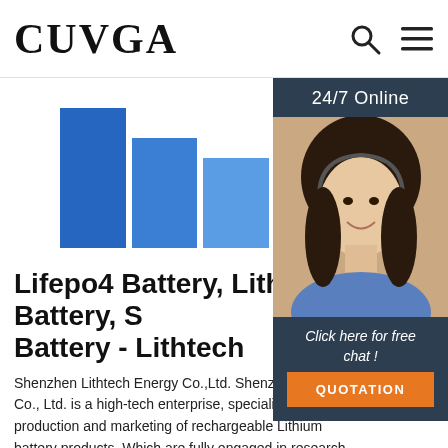CUVGA
[Figure (photo): Blue 3D block/cube product image showing decreasing height bars from left to right, representing battery or product blocks in blue gradient colors]
[Figure (photo): Side panel showing 24/7 Online label, photo of a female customer service agent with headset smiling, with 'Click here for free chat!' text and an orange QUOTATION button]
Lifepo4 Battery, Lithium Battery, S Battery - Lithtech
Shenzhen Lithtech Energy Co.,Ltd. Shenzhen Lithtech Co., Ltd. is a high-tech enterprise, specialized in R&D, production and marketing of rechargeable Lithium battery products. Which are fully engaged in research & development, production and …
Get Price